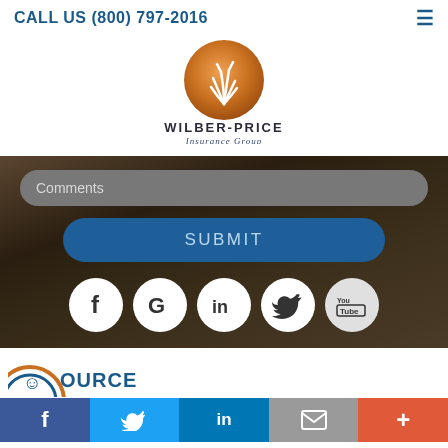CALL US (800) 797-2016
[Figure (logo): Wilber-Price Insurance Group logo: orange circular emblem with wheat/grass graphic, text WILBER-PRICE in bold dark letters, Insurance Group in italic script below]
Comments
SUBMIT
[Figure (infographic): Row of 5 social media icons (white circles on dark background): Facebook, Google, LinkedIn, Twitter, YouTube]
[Figure (logo): Partial circular logo/icon at bottom left, partially visible, with text OURCES (partial word RESOURCES)]
Facebook | Twitter | LinkedIn | Email | More (+)